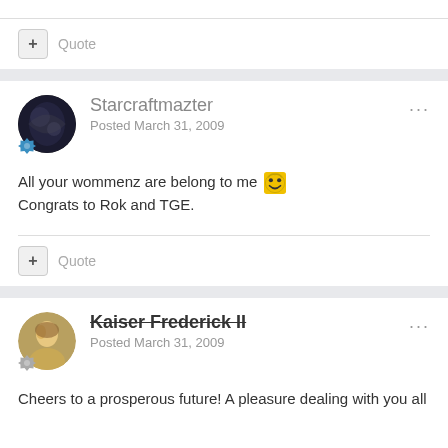Quote
Starcraftmazter
Posted March 31, 2009
All your wommenz are belong to me 😎
Congrats to Rok and TGE.
Quote
Kaiser Frederick II
Posted March 31, 2009
Cheers to a prosperous future! A pleasure dealing with you all